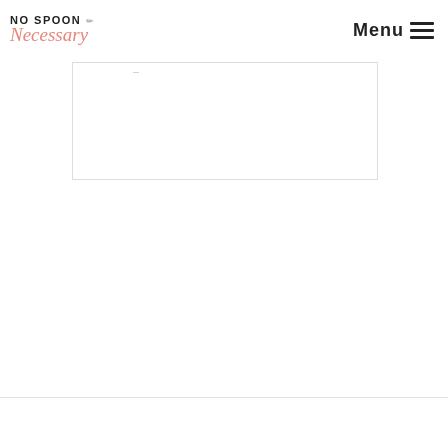No Spoon Necessary | Menu
[Figure (other): Blank white content box with a thin border]
...